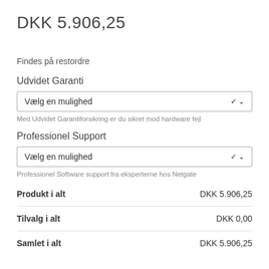DKK 5.906,25
Findes på restordre
Udvidet Garanti
Vælg en mulighed
Med Udvidet Garantiforsikring er du sikret mod hardware fejl
Professionel Support
Vælg en mulighed
Professionel Software support fra eksperterne hos Netgate
| Label | Value |
| --- | --- |
| Produkt i alt | DKK 5.906,25 |
| Tilvalg i alt | DKK 0,00 |
| Samlet i alt | DKK 5.906,25 |